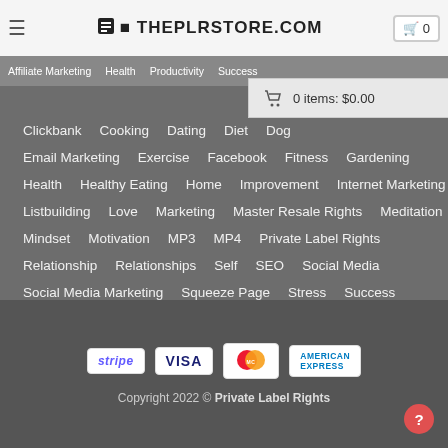ThePLRStore.com — Hamburger menu, logo, cart (0 items: $0.00)
Clickbank  Cooking  Dating  Diet  Dog  Email Marketing  Exercise  Facebook  Fitness  Gardening  Health  Healthy Eating  Home  Improvement  Internet Marketing  Listbuilding  Love  Marketing  Master Resale Rights  Meditation  Mindset  Motivation  MP3  MP4  Private Label Rights  Relationship  Relationships  Self  SEO  Social Media  Social Media Marketing  Squeeze Page  Stress  Success  Traffic  Twitter  Video  Website Traffic  Weight Loss  YouTube
stripe  VISA  MasterCard  AMERICAN EXPRESS  Copyright 2022 © Private Label Rights